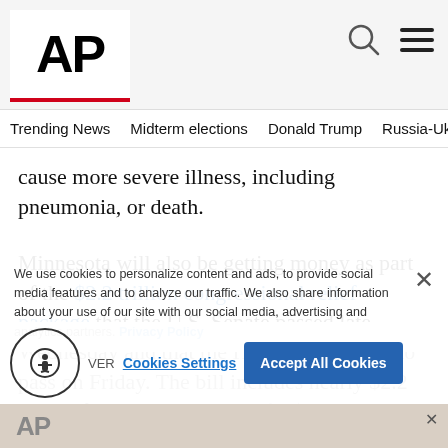AP
Trending News | Midterm elections | Donald Trump | Russia-Ukr
cause more severe illness, including pneumonia, or death.
Minnesota will also be getting money as part of the $2.2 trillion congressional relief package that the U.S. Senate passed late Wednesday and that the House is expected to pass on Friday. The bill includes nearly $2.2 billion for the state as part of a $150 billion stimulus package for state, local and tribal governments, according to the National Conference of State Legislatures.
We use cookies to personalize content and ads, to provide social media features and to analyze our traffic. We also share information about your use of our site with our social media, advertising and analytics partners. Privacy Policy
Cookies Settings | Accept All Cookies